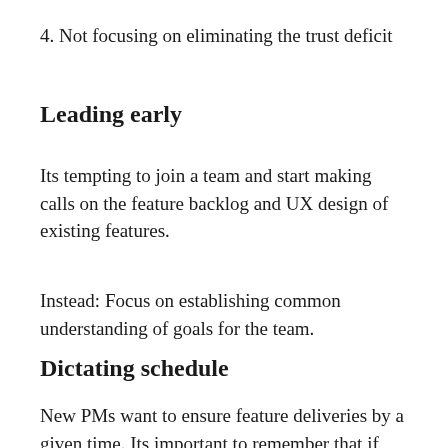4. Not focusing on eliminating the trust deficit
Leading early
Its tempting to join a team and start making calls on the feature backlog and UX design of existing features.
Instead: Focus on establishing common understanding of goals for the team.
Dictating schedule
New PMs want to ensure feature deliveries by a given time. Its important to remember that if